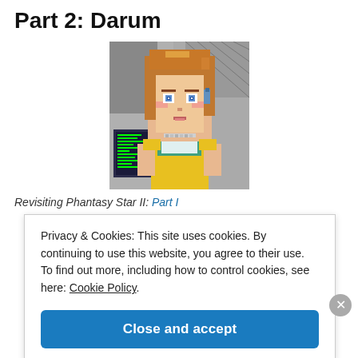Part 2: Darum
[Figure (illustration): Pixel art portrait of a female anime-style character with brown hair, blue eyes, yellow and teal outfit, standing in front of sci-fi background with monitors — from Phantasy Star II video game]
Revisiting Phantasy Star II: Part I
Privacy & Cookies: This site uses cookies. By continuing to use this website, you agree to their use.
To find out more, including how to control cookies, see here: Cookie Policy
Close and accept